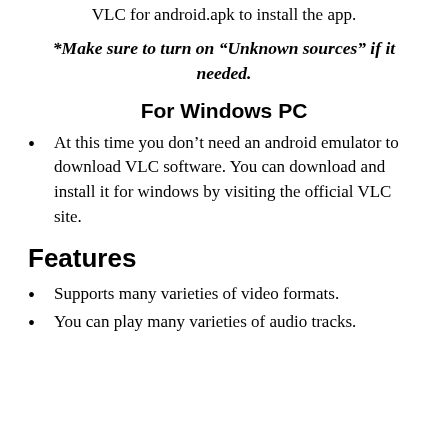VLC for android.apk to install the app.
*Make sure to turn on “Unknown sources” if it needed.
For Windows PC
At this time you don’t need an android emulator to download VLC software. You can download and install it for windows by visiting the official VLC site.
Features
Supports many varieties of video formats.
You can play many varieties of audio tracks.